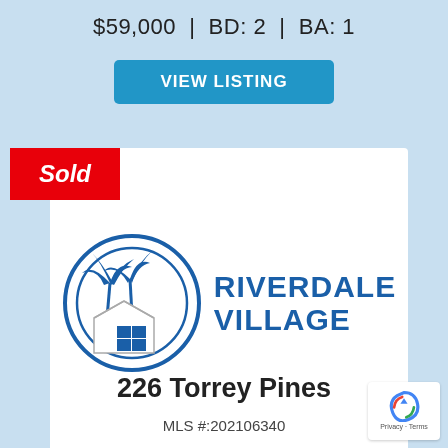$59,000  |  BD: 2  |  BA: 1
VIEW LISTING
[Figure (logo): Riverdale Village logo with palm trees and house icon inside a circle, with text RIVERDALE VILLAGE]
226 Torrey Pines
MLS #:202106340